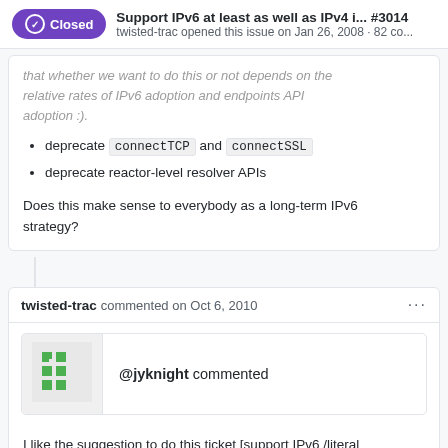Support IPv6 at least as well as IPv4 i... #3014
twisted-trac opened this issue on Jan 26, 2008 · 82 co...
that whether we want to do this or not depends on the relative rates of IPv6 adoption and endpoints API adoption :).
deprecate connectTCP and connectSSL
deprecate reactor-level resolver APIs
Does this make sense to everybody as a long-term IPv6 strategy?
twisted-trac commented on Oct 6, 2010
[Figure (illustration): User avatar for @jyknight — a pixel art robot/alien icon in green on light background]
@jyknight commented
I like the suggestion to do this ticket [support IPv6 /literal addresses/ in connectTCP/listenTCP] first. It seems to be the